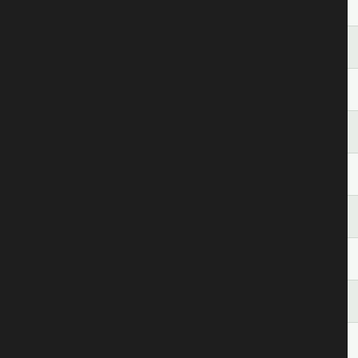| # | Artist | Song |
| --- | --- | --- |
|  | Crumit | Gonna Be |
| 9 | Frank Crumit | Margi |
| 10 | Frank Crumit | I Used to Love You Now |
| 11 | Frank Crumit | Home again |
| 12 | Frank Crumit | Paleste |
| 13 | Frank Crumit | Frankie & J |
| 14 | Frank Crumit | Old Fashion |
| 15 | Frank Crumit | My Honey's Lo |
| 16 | Frank Crumit | 'S Wonde |
| 17 | Frank Crumit | Dapper D |
| 18 | Frank Crumit | Three O'Clock in |
| 19 | Frank Crumit | I'm Mindin' My |
| 20 | Frank Crumit | Say it with a |